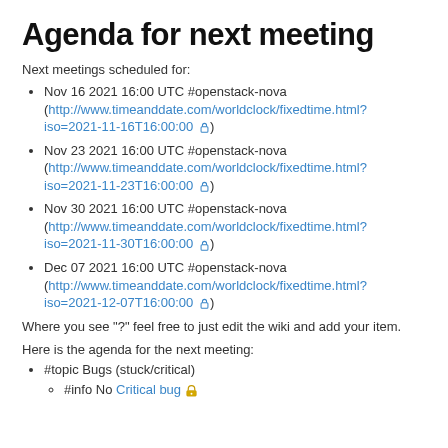Agenda for next meeting
Next meetings scheduled for:
Nov 16 2021 16:00 UTC #openstack-nova (http://www.timeanddate.com/worldclock/fixedtime.html?iso=2021-11-16T16:00:00 🔗)
Nov 23 2021 16:00 UTC #openstack-nova (http://www.timeanddate.com/worldclock/fixedtime.html?iso=2021-11-23T16:00:00 🔗)
Nov 30 2021 16:00 UTC #openstack-nova (http://www.timeanddate.com/worldclock/fixedtime.html?iso=2021-11-30T16:00:00 🔗)
Dec 07 2021 16:00 UTC #openstack-nova (http://www.timeanddate.com/worldclock/fixedtime.html?iso=2021-12-07T16:00:00 🔗)
Where you see "?" feel free to just edit the wiki and add your item.
Here is the agenda for the next meeting:
#topic Bugs (stuck/critical)
#info No Critical bug 🔒